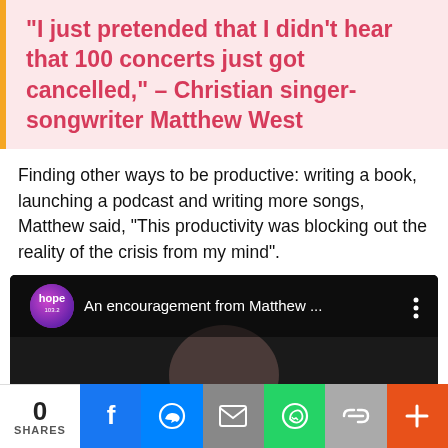“I just pretended that I didn’t hear that 100 concerts just got cancelled,” – Christian singer-songwriter Matthew West
Finding other ways to be productive: writing a book, launching a podcast and writing more songs, Matthew said, “This productivity was blocking out the reality of the crisis from my mind”.
[Figure (screenshot): Video thumbnail showing Hope 103.2 logo and title 'An encouragement from Matthew ...' with a man's face visible below]
0 SHARES | Facebook | Messenger | Email | WhatsApp | Link | More